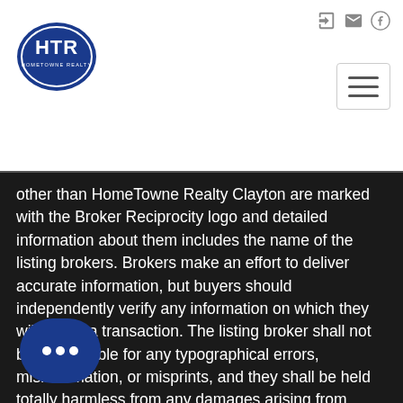[Figure (logo): HomeTowne Realty (HTR) blue oval logo]
other than HomeTowne Realty Clayton are marked with the Broker Reciprocity logo and detailed information about them includes the name of the listing brokers. Brokers make an effort to deliver accurate information, but buyers should independently verify any information on which they will rely in a transaction. The listing broker shall not be responsible for any typographical errors, misinformation, or misprints, and they shall be held totally harmless from any damages arising from reliance upon this data. This data is provided exclusively for consumer's personal, noncommercial use. Closed (sold) listings may have been listed and/or sold by a real estate firm other than the firm(s) featured on this website. Closed data is not available until the sale of the property is recorded in the MLS. Home sale data is not an